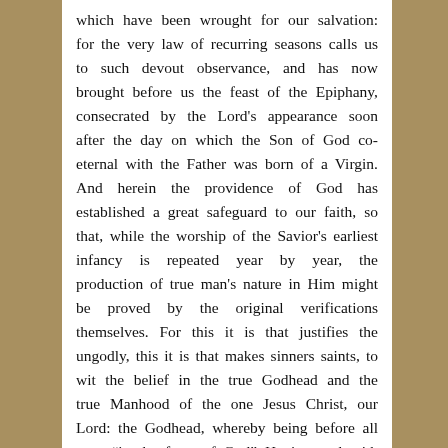which have been wrought for our salvation: for the very law of recurring seasons calls us to such devout observance, and has now brought before us the feast of the Epiphany, consecrated by the Lord's appearance soon after the day on which the Son of God co-eternal with the Father was born of a Virgin. And herein the providence of God has established a great safeguard to our faith, so that, while the worship of the Savior's earliest infancy is repeated year by year, the production of true man's nature in Him might be proved by the original verifications themselves. For this it is that justifies the ungodly, this it is that makes sinners saints, to wit the belief in the true Godhead and the true Manhood of the one Jesus Christ, our Lord: the Godhead, whereby being before all ages “in the form of God” He is equal with the Father: the Manhood, whereby in the last days He is united to